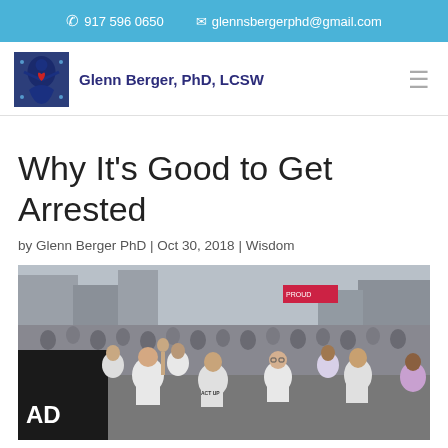917 596 0650  glennsbergerphd@gmail.com
Glenn Berger, PhD, LCSW
Why It’s Good to Get Arrested
by Glenn Berger PhD | Oct 30, 2018 | Wisdom
[Figure (photo): Black and white photograph of a large crowd of people marching in a protest or demonstration on a city street. Many participants are wearing white t-shirts; a banner is visible on the left. Signs visible in the background including one reading 'PROUD'.]